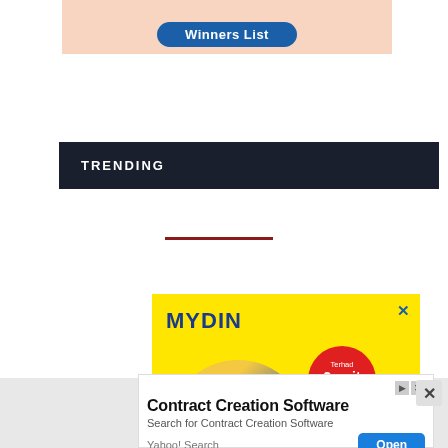[Figure (illustration): Winners List banner with pink/beige background and blue rounded button labeled 'Winners List']
TRENDING
[Figure (illustration): Dark red horizontal divider line]
[Figure (illustration): MYDIN advertisement with yellow background showing Planta Marjerin 2.5kg product, Terhad 2 unit badge, price details: Bukan Ahli RM 34.90, Harga Ahli pricing]
[Figure (illustration): Contract Creation Software advertisement from Yahoo Search with blue Open button]